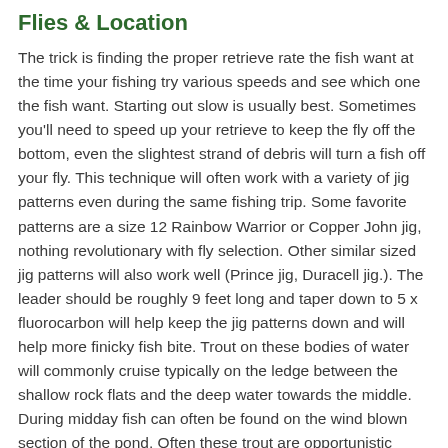Flies & Location
The trick is finding the proper retrieve rate the fish want at the time your fishing try various speeds and see which one the fish want. Starting out slow is usually best. Sometimes you'll need to speed up your retrieve to keep the fly off the bottom, even the slightest strand of debris will turn a fish off your fly. This technique will often work with a variety of jig patterns even during the same fishing trip. Some favorite patterns are a size 12 Rainbow Warrior or Copper John jig, nothing revolutionary with fly selection. Other similar sized jig patterns will also work well (Prince jig, Duracell jig.). The leader should be roughly 9 feet long and taper down to 5 x fluorocarbon will help keep the jig patterns down and will help more finicky fish bite. Trout on these bodies of water will commonly cruise typically on the ledge between the shallow rock flats and the deep water towards the middle. During midday fish can often be found on the wind blown section of the pond. Often these trout are opportunistic feeders and will readily take a well presented fly. Trout